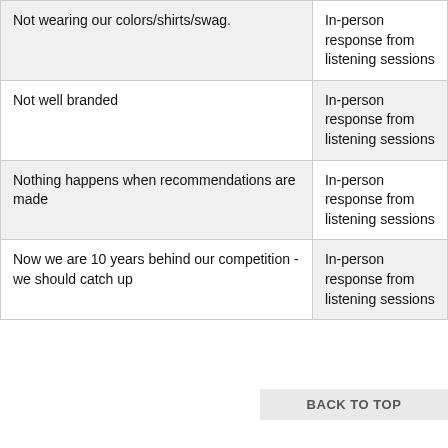| Not wearing our colors/shirts/swag. | In-person response from listening sessions |
| Not well branded | In-person response from listening sessions |
| Nothing happens when recommendations are made | In-person response from listening sessions |
| Now we are 10 years behind our competition - we should catch up | In-person response from listening sessions |